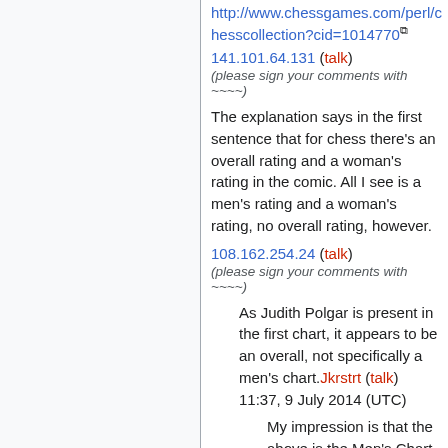http://www.chessgames.com/perl/chesscollection?cid=1014770
141.101.64.131 (talk)
(please sign your comments with ~~~~)
The explanation says in the first sentence that for chess there's an overall rating and a woman's rating in the comic. All I see is a men's rating and a woman's rating, no overall rating, however.
108.162.254.24 (talk)
(please sign your comments with ~~~~)
As Judith Polgar is present in the first chart, it appears to be an overall, not specifically a men's chart.Jkrstrt (talk) 11:37, 9 July 2014 (UTC)
My impression is that the above is the Men's Chart but